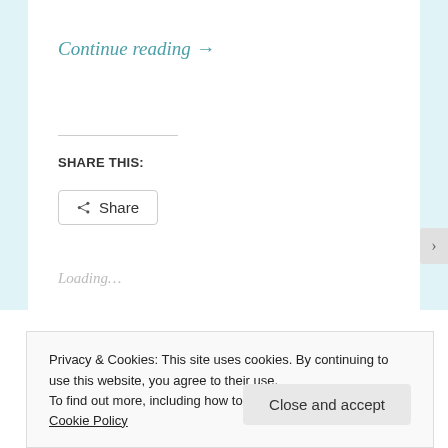Continue reading →
SHARE THIS:
Share
Loading...
Privacy & Cookies: This site uses cookies. By continuing to use this website, you agree to their use.
To find out more, including how to control cookies, see here: Cookie Policy
Close and accept